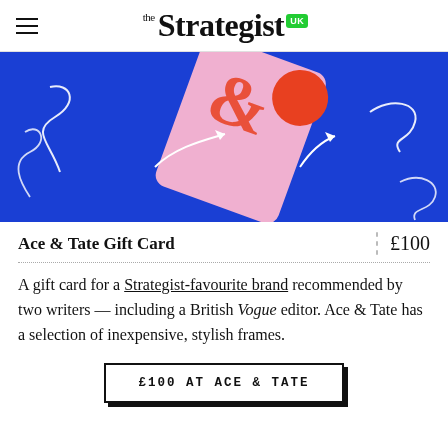the Strategist UK
[Figure (illustration): Blue background illustration with a pink playing card (Ace of Spades with red ampersand), white curly line decorations, and white arrows pointing to the card]
Ace & Tate Gift Card
£100
A gift card for a Strategist-favourite brand recommended by two writers — including a British Vogue editor. Ace & Tate has a selection of inexpensive, stylish frames.
£100 AT ACE & TATE